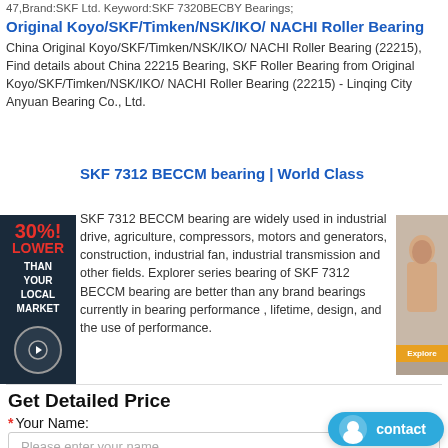47,Brand:SKF Ltd. Keyword:SKF 7320BECBY Bearings;
Original Koyo/SKF/Timken/NSK/IKO/ NACHI Roller Bearing
China Original Koyo/SKF/Timken/NSK/IKO/ NACHI Roller Bearing (22215), Find details about China 22215 Bearing, SKF Roller Bearing from Original Koyo/SKF/Timken/NSK/IKO/ NACHI Roller Bearing (22215) - Linqing City Anyuan Bearing Co., Ltd.
[Figure (photo): Advertisement banner showing 30% lower price than local market, with a photo of a person and a button]
SKF 7312 BECCM bearing | World Class
SKF 7312 BECCM bearing are widely used in industrial drive, agriculture, compressors, motors and generators, construction, industrial fan, industrial transmission and other fields. Explorer series bearing of SKF 7312 BECCM bearing are better than any brand bearings currently in bearing performance , lifetime, design, and the use of performance.
Get Detailed Price
* Your Name:
Please enter your name